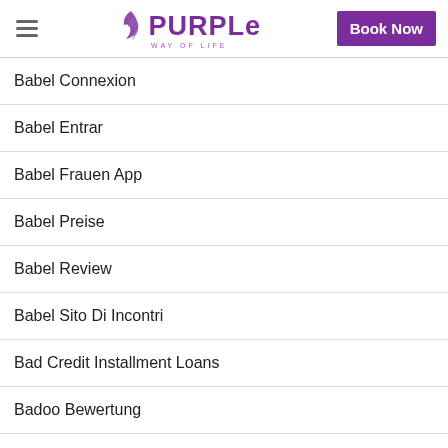[Figure (logo): Purple Way of Life logo with flame icon and Book Now button]
Babel Connexion
Babel Entrar
Babel Frauen App
Babel Preise
Babel Review
Babel Sito Di Incontri
Bad Credit Installment Loans
Badoo Bewertung